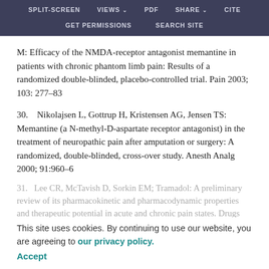SPLIT-SCREEN  VIEWS  PDF  SHARE  CITE  GET PERMISSIONS  SEARCH SITE
M: Efficacy of the NMDA-receptor antagonist memantine in patients with chronic phantom limb pain: Results of a randomized double-blinded, placebo-controlled trial. Pain 2003; 103: 277–83
30.   Nikolajsen L, Gottrup H, Kristensen AG, Jensen TS: Memantine (a N-methyl-D-aspartate receptor antagonist) in the treatment of neuropathic pain after amputation or surgery: A randomized, double-blinded, cross-over study. Anesth Analg 2000; 91:960–6
31.   Lee CR, McTavish D, Sorkin EM; Tramadol: A preliminary review of its pharmacokinetic and pharmacodynamic properties and therapeutic potential in acute and chronic pain states. Drugs 1993; 46:313–
This site uses cookies. By continuing to use our website, you are agreeing to our privacy policy. Accept